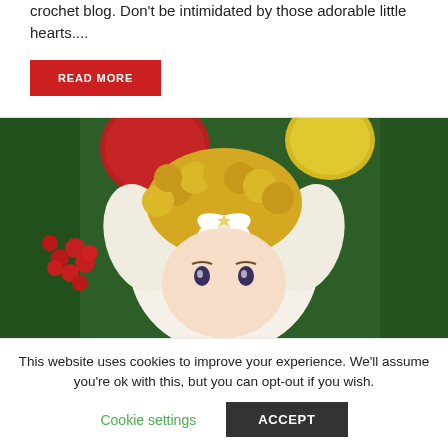crochet blog. Don't be intimidated by those adorable little hearts....
READ MORE
[Figure (photo): Close-up of a ceramic angel ornament with curly blonde hair and a white ribbon bow, surrounded by green pine branches, red berries, and colorful Christmas ornaments.]
This website uses cookies to improve your experience. We'll assume you're ok with this, but you can opt-out if you wish.
Cookie settings
ACCEPT